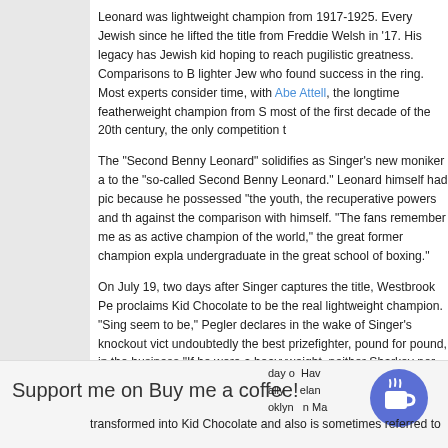Leonard was lightweight champion from 1917-1925. Every Jewish since he lifted the title from Freddie Welsh in '17. His legacy has Jewish kid hoping to reach pugilistic greatness. Comparisons to lighter Jew who found success in the ring. Most experts consider time, with Abe Attell, the longtime featherweight champion from S most of the first decade of the 20th century, the only competition t
The "Second Benny Leonard" solidifies as Singer's new moniker a to the "so-called Second Benny Leonard." Leonard himself had pic because he possessed "the youth, the recuperative powers and th against the comparison with himself. "The fans remember me as as active champion of the world," the great former champion expl undergraduate in the great school of boxing."
On July 19, two days after Singer captures the title, Westbrook Pe proclaims Kid Chocolate to be the real lightweight champion. "Sing seem to be," Pegler declares in the wake of Singer's knockout vict undoubtedly the best prizefighter, pound for pound, in the business "If he were a heavyweight, neither Sharkey nor Schmeling would la
Support me on Buy me a coffee!
day o  Hav ally     elar oklyn   n Ma
transformed into Kid Chocolate and also is sometimes referred to